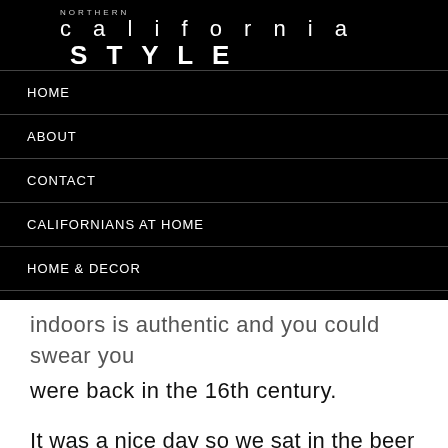NORTHERN california STYLE
HOME
ABOUT
CONTACT
CALIFORNIANS AT HOME
HOME & DECOR
MY CALIFORNIA CLOSET
indoors is authentic and you could swear you were back in the 16th century.
It was a nice day so we sat in the beer garden.